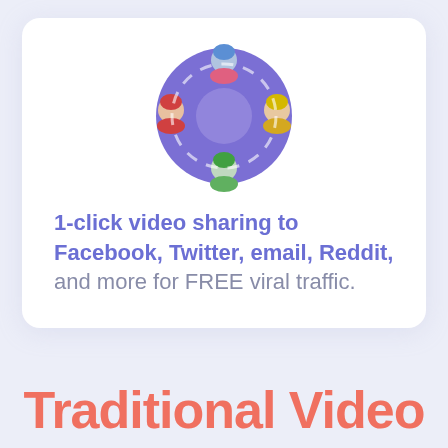[Figure (illustration): Circular group of people icons on a purple circle background, representing social sharing/network community]
1-click video sharing to Facebook, Twitter, email, Reddit, and more for FREE viral traffic.
Traditional Video